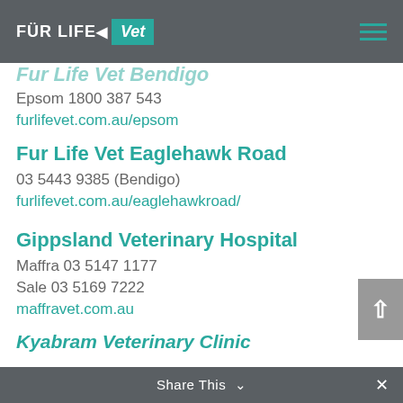FUR LIFE Vet
Fur Life Vet Bendigo
Epsom 1800 387 543
furlifevet.com.au/epsom
Fur Life Vet Eaglehawk Road
03 5443 9385 (Bendigo)
furlifevet.com.au/eaglehawkroad/
Gippsland Veterinary Hospital
Maffra 03 5147 1177
Sale 03 5169 7222
maffravet.com.au
Share This
Kyabram Veterinary Clinic